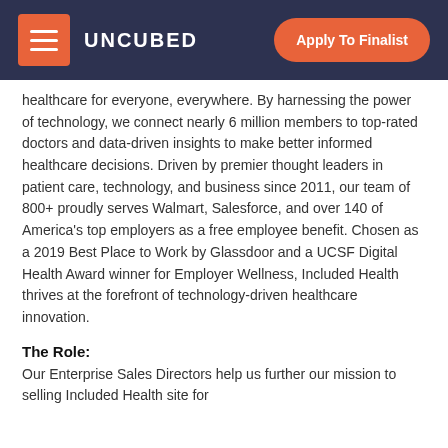UNCUBED | Apply To Finalist
healthcare for everyone, everywhere. By harnessing the power of technology, we connect nearly 6 million members to top-rated doctors and data-driven insights to make better informed healthcare decisions. Driven by premier thought leaders in patient care, technology, and business since 2011, our team of 800+ proudly serves Walmart, Salesforce, and over 140 of America's top employers as a free employee benefit. Chosen as a 2019 Best Place to Work by Glassdoor and a UCSF Digital Health Award winner for Employer Wellness, Included Health thrives at the forefront of technology-driven healthcare innovation.
The Role:
Our Enterprise Sales Directors help us further our mission to selling Included Health site for...